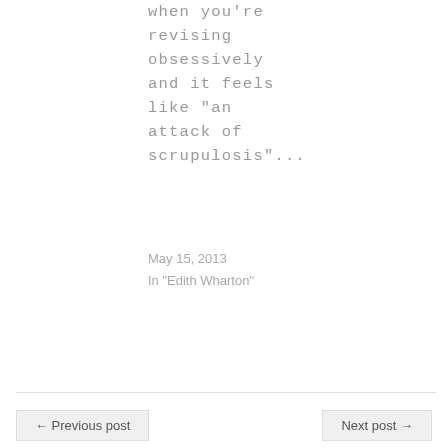when you're revising obsessively and it feels like “an attack of scrupulosis”...
May 15, 2013
In "Edith Wharton"
← Previous post
Next post →
THOUGHTS ON “WHAT EDITH WHARTON TELLS US ABOUT THE WAY WE LIVE NOW”
21
Pingback: “Trading Up”: Wharton’s Influence on Candace Bushnell and Julian Fellowes | Sarah